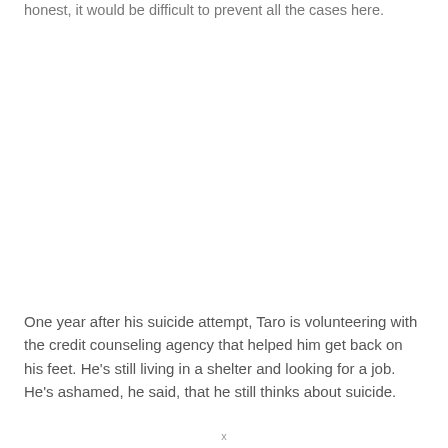honest, it would be difficult to prevent all the cases here.
One year after his suicide attempt, Taro is volunteering with the credit counseling agency that helped him get back on his feet. He's still living in a shelter and looking for a job. He's ashamed, he said, that he still thinks about suicide.
x